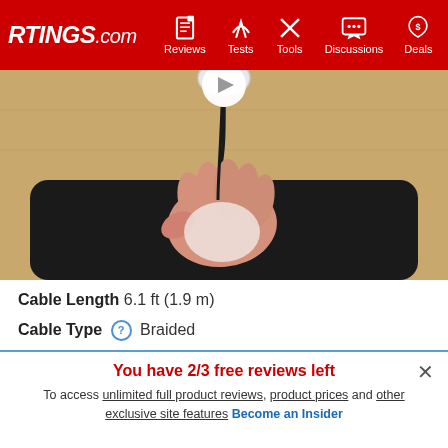RTINGS.com — Reviews | Tests | Tools | Discussions | Deals
[Figure (photo): A hand holding a mouse on a black mouse pad on a wooden desk, with a cable going upward to a USB receiver above]
Cable Length  6.1 ft (1.9 m)
Cable Type  Braided
Permanent Kink  Yes
Port Type: Mouse End  No Port
Port Type: PC End  USB
You have 2/3 free reviews left
To access unlimited full product reviews, product prices and other exclusive site features Become an Insider